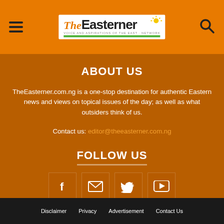TheEasterner — menu and search header
ABOUT US
TheEasterner.com.ng is a one-stop destination for authentic Eastern news and views on topical issues of the day; as well as what outsiders think of us.
Contact us: editor@theeasterner.com.ng
FOLLOW US
[Figure (infographic): Social media icon buttons: Facebook (f), Email (envelope), Twitter (bird), YouTube (play icon)]
Disclaimer  Privacy  Advertisement  Contact Us